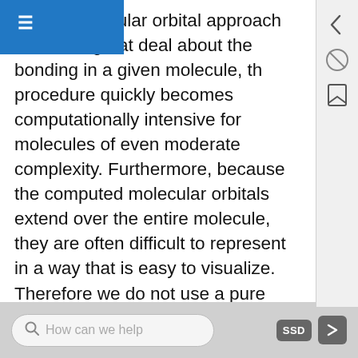gh the molecular orbital approach reveals a great deal about the bonding in a given molecule, the procedure quickly becomes computationally intensive for molecules of even moderate complexity. Furthermore, because the computed molecular orbitals extend over the entire molecule, they are often difficult to represent in a way that is easy to visualize. Therefore we do not use a pure molecular orbital approach to describe the bonding in molecules or ions with more than two atoms. Instead, we use a valence bond approach and a molecular orbital approach to explain, among other things, the concept of resonance, which cannot adequately be explained using other methods.